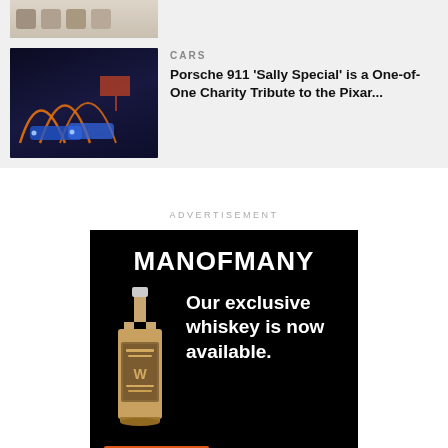[Figure (photo): Top strip showing jars/containers on a light background, partially cropped]
[Figure (photo): Blue Porsche 911 cars in a dark setting with orange neon light trails]
CARS
Porsche 911 'Sally Special' is a One-of-One Charity Tribute to the Pixar...
ADVERTISEMENT
[Figure (photo): Man of Many advertisement: black background, whiskey bottle, text 'Our exclusive whiskey is now available.' with orange Buy it Here button and M logo]